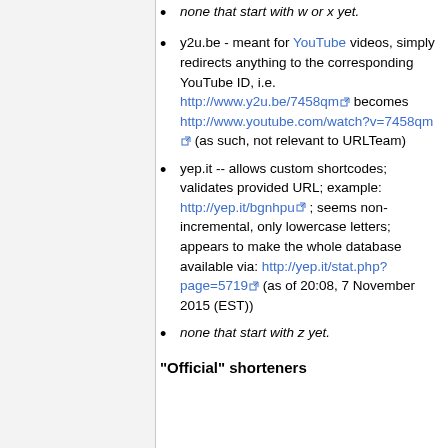none that start with w or x yet.
y2u.be - meant for YouTube videos, simply redirects anything to the corresponding YouTube ID, i.e. http://www.y2u.be/7458qm becomes http://www.youtube.com/watch?v=7458qm (as such, not relevant to URLTeam)
yep.it -- allows custom shortcodes; validates provided URL; example: http://yep.it/bgnhpu ; seems non-incremental, only lowercase letters; appears to make the whole database available via: http://yep.it/stat.php?page=5719 (as of 20:08, 7 November 2015 (EST))
none that start with z yet.
"Official" shorteners